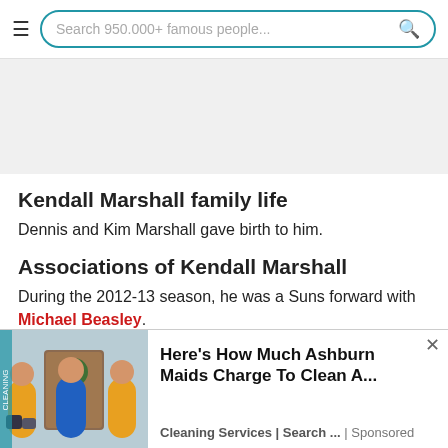Search 950.000+ famous people...
Kendall Marshall family life
Dennis and Kim Marshall gave birth to him.
Associations of Kendall Marshall
During the 2012-13 season, he was a Suns forward with Michael Beasley.
Top Facts You Did Not Know About Kendall Marshall
Delaware 87ers players. Bakersfield Jam players. The Reno Bighorns players. North Carolina Tar Heels male basketball players.
[Figure (photo): Advertisement photo showing cleaning maids in blue uniforms in front of a house door]
Here's How Much Ashburn Maids Charge To Clean A... Cleaning Services | Search ... | Sponsored